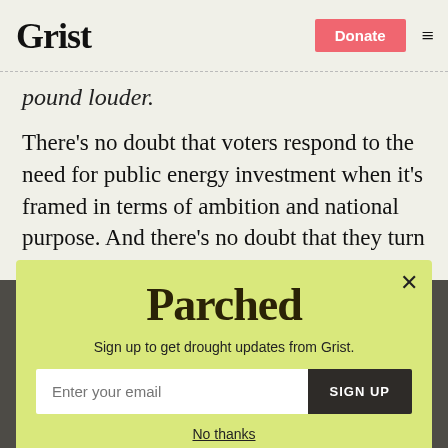Grist | Donate
pound louder.
There’s no doubt that voters respond to the need for public energy investment when it’s framed in terms of ambition and national purpose. And there’s no doubt that they turn on it when it’s framed in terms of wasteful
[Figure (other): Popup modal newsletter signup for 'Parched' drought updates newsletter from Grist, with email input field and SIGN UP button, on a yellow-green background, with a close (X) button and 'No thanks' link.]